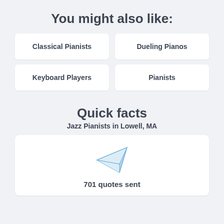You might also like:
Classical Pianists
Dueling Pianos
Keyboard Players
Pianists
Quick facts
Jazz Pianists in Lowell, MA
[Figure (illustration): Paper airplane icon]
701 quotes sent